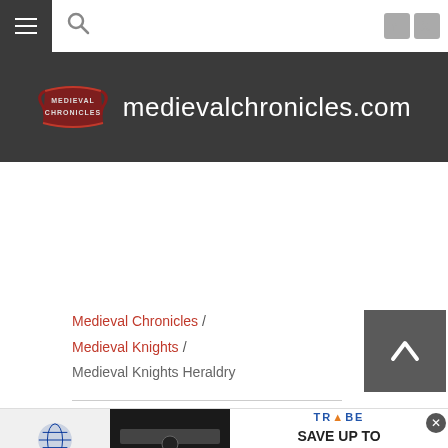medievalchronicles.com — navigation bar with hamburger menu, search icon, social icons
[Figure (logo): Medieval Chronicles logo with red banner/scroll graphic and site name 'medievalchronicles.com' on dark background]
Medieval Chronicles / Medieval Knights / Medieval Knights Heraldry
[Figure (other): Advertisement banner: Optics Planet 20 Years of Gear, TRYBS, Save up to 40% off instantly, Shop Now button]